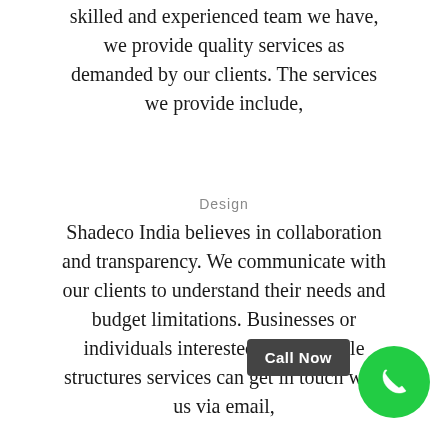skilled and experienced team we have, we provide quality services as demanded by our clients. The services we provide include,
Design
Shadeco India believes in collaboration and transparency. We communicate with our clients to understand their needs and budget limitations. Businesses or individuals interested in our tensile structures services can get in touch with us via email,
Call Now